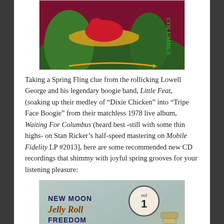[Figure (photo): Album cover of 'Waiting For Columbus' by Little Feat — colorful image with reddish-purple background showing a figure in a hammock, lush greenery, and stylized text on the right side.]
Taking a Spring Fling clue from the rollicking Lowell George and his legendary boogie band, Little Feat, (soaking up their medley of “Dixie Chicken” into “Tripe Face Boogie” from their matchless 1978 live album, Waiting For Columbus (heard best -still with some thin highs- on Stan Ricker’s half-speed mastering on Mobile Fidelity LP #2013], here are some recommended new CD recordings that shimmy with joyful spring grooves for your listening pleasure:
[Figure (photo): Album cover of 'New Moon Jelly Roll Freedom Rockers Vol 1' — vintage style design with teal/blue background, bold lettering in retro style, a circular Vol 1 stamp, and a water tower image on the right side.]